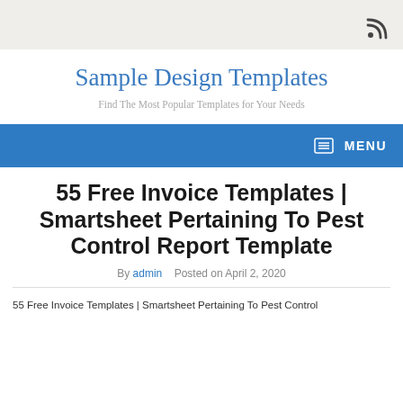RSS icon / top bar
Sample Design Templates
Find The Most Popular Templates for Your Needs
MENU
55 Free Invoice Templates | Smartsheet Pertaining To Pest Control Report Template
By admin   Posted on April 2, 2020
55 Free Invoice Templates | Smartsheet Pertaining To Pest Control